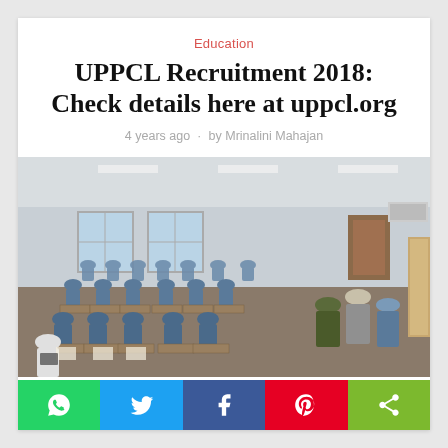Education
UPPCL Recruitment 2018: Check details here at uppcl.org
4 years ago · by Mrinalini Mahajan
[Figure (photo): A large classroom filled with students in blue uniforms sitting at desks, with military/official personnel standing at the front right of the room.]
[Figure (infographic): Social media share bar with WhatsApp (green), Twitter (blue), Facebook (dark blue), Pinterest (red), and share (light green) buttons.]